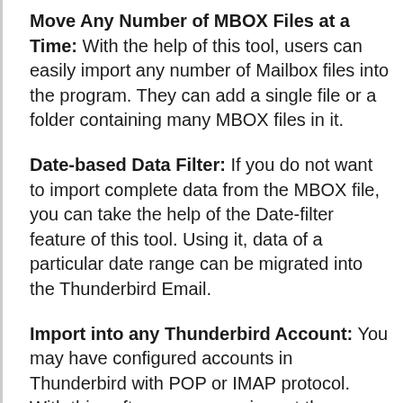Move Any Number of MBOX Files at a Time: With the help of this tool, users can easily import any number of Mailbox files into the program. They can add a single file or a folder containing many MBOX files in it.
Date-based Data Filter: If you do not want to import complete data from the MBOX file, you can take the help of the Date-filter feature of this tool. Using it, data of a particular date range can be migrated into the Thunderbird Email.
Import into any Thunderbird Account: You may have configured accounts in Thunderbird with POP or IMAP protocol. With this software, you can import the Mailbox